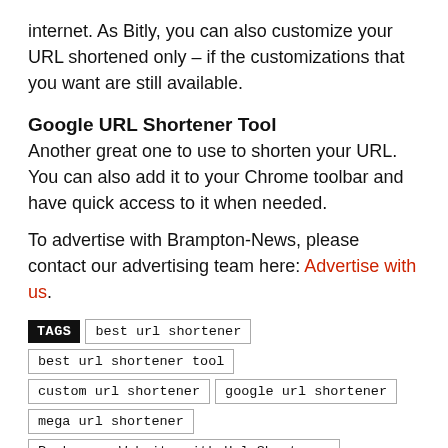internet. As Bitly, you can also customize your URL shortened only – if the customizations that you want are still available.
Google URL Shortener Tool
Another great one to use to shorten your URL. You can also add it to your Chrome toolbar and have quick access to it when needed.
To advertise with Brampton-News, please contact our advertising team here: Advertise with us.
TAGS best url shortener  best url shortener tool  custom url shortener  google url shortener  mega url shortener  Rank your Website with Url Shortener  url shortener custom domain  url shortener tool  url shortener tool SEO  url shortening